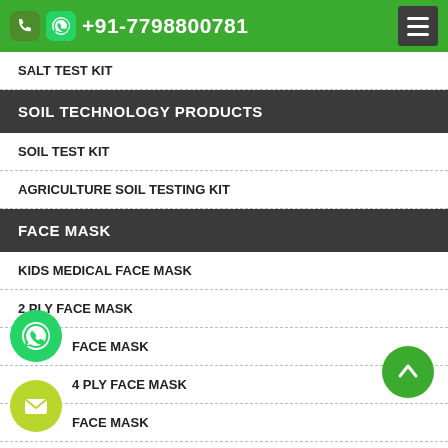+91-7798800781
SALT TEST KIT
SOIL TECHNOLOGY PRODUCTS
SOIL TEST KIT
AGRICULTURE SOIL TESTING KIT
FACE MASK
KIDS MEDICAL FACE MASK
2 PLY FACE MASK
FACE MASK
4 PLY FACE MASK
FACE MASK
N95 RESPIRATOR MASK
BIO-DEGRADABLE COMPOSTABLE GLOVES